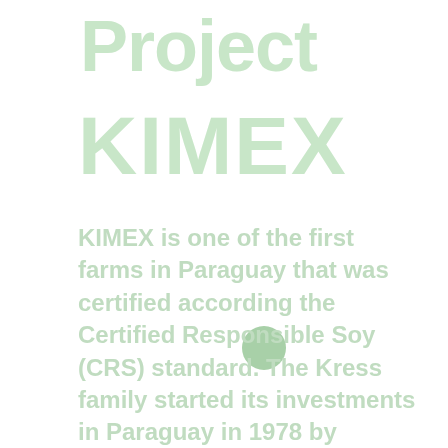Project
KIMEX
KIMEX is one of the first farms in Paraguay that was certified according the Certified Responsible Soy (CRS) standard. The Kress family started its investments in Paraguay in 1978 by initially acquiring 1,500 hectares of land for agricultural projects. At this moment, mainly soybeans and maize were being cultivated here.